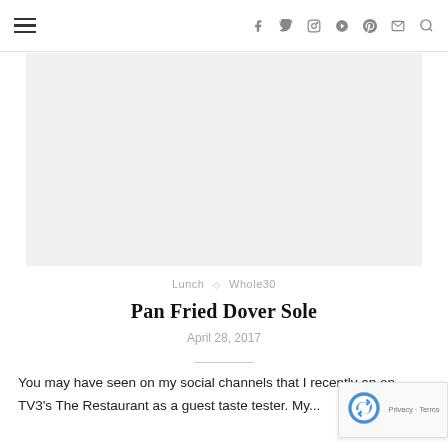Navigation bar with hamburger menu and social icons: f (Facebook), Twitter bird, Instagram, Pinterest, envelope (email), search
[Figure (photo): Large light gray image placeholder area for a food photo]
Lunch ◇ Whole30
Pan Fried Dover Sole
April 28, 2017
You may have seen on my social channels that I recently ap on TV3's The Restaurant as a guest taste tester. My...